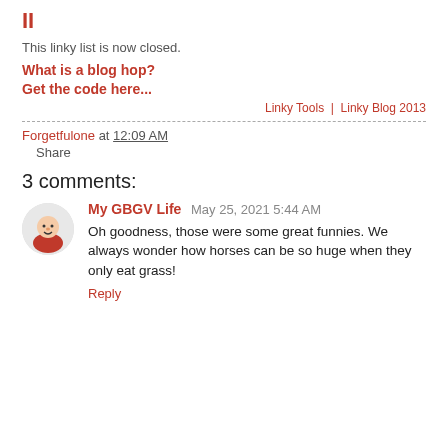II
This linky list is now closed.
What is a blog hop?
Get the code here...
Linky Tools | Linky Blog 2013
Forgetfulone at 12:09 AM
Share
3 comments:
My GBGV Life May 25, 2021 5:44 AM
Oh goodness, those were some great funnies. We always wonder how horses can be so huge when they only eat grass!
Reply